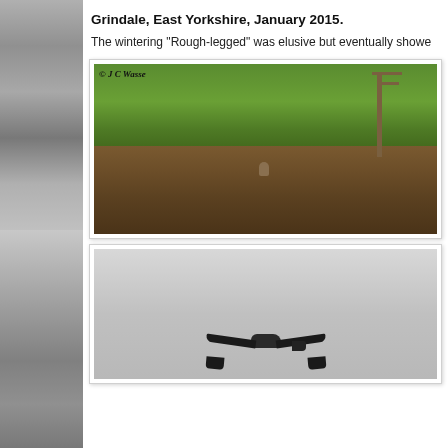[Figure (photo): Grayscale vertical sidebar image showing rocky/icy terrain and water]
Grindale, East Yorkshire, January 2015.
The wintering "Rough-legged" was elusive but eventually showe
[Figure (photo): Photograph of a bird of prey (Rough-legged Buzzard) perched in bare winter shrubs with green field and telegraph pole in background. Copyright J C Wasse.]
[Figure (photo): Photograph of a large bird of prey (Rough-legged Buzzard) in flight against a grey sky, wings spread wide.]